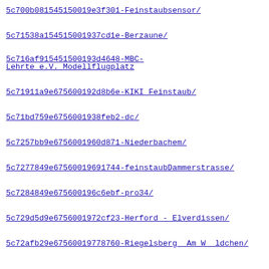5c700b081545150019e3f301-Feinstaubsensor/
5c71538a154515001937cd1e-Berzaune/
5c716af915451500193d4648-MBC-Lehrte e.V. Modellflugplatz
5c71911a9e675600192d8b6e-KIKI Feinstaub/
5c71bd759e6756001938feb2-dc/
5c7257bb9e6756001960d871-Niederbachem/
5c7277849e67560019691744-feinstaubDammerstrasse/
5c7284849e675600196c6ebf-pro34/
5c729d5d9e6756001972cf23-Herford - Elverdissen/
5c72afb29e67560019778760-Riegelsberg  Am Wäldchen/